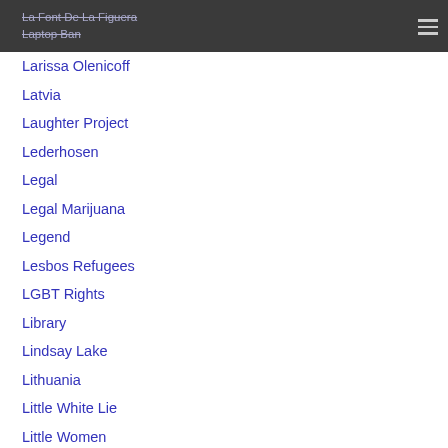La Font De La Figuera
Laptop Ban
Larissa Olenicoff
Latvia
Laughter Project
Lederhosen
Legal
Legal Marijuana
Legend
Lesbos Refugees
LGBT Rights
Library
Lindsay Lake
Lithuania
Little White Lie
Little Women
Live To 100
Lockdown Survival Tips
Longevity